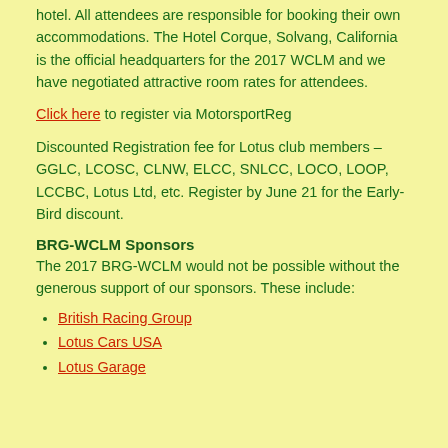hotel. All attendees are responsible for booking their own accommodations. The Hotel Corque, Solvang, California is the official headquarters for the 2017 WCLM and we have negotiated attractive room rates for attendees.
Click here to register via MotorsportReg
Discounted Registration fee for Lotus club members – GGLC, LCOSC, CLNW, ELCC, SNLCC, LOCO, LOOP, LCCBC, Lotus Ltd, etc. Register by June 21 for the Early-Bird discount.
BRG-WCLM Sponsors
The 2017 BRG-WCLM would not be possible without the generous support of our sponsors. These include:
British Racing Group
Lotus Cars USA
Lotus Garage